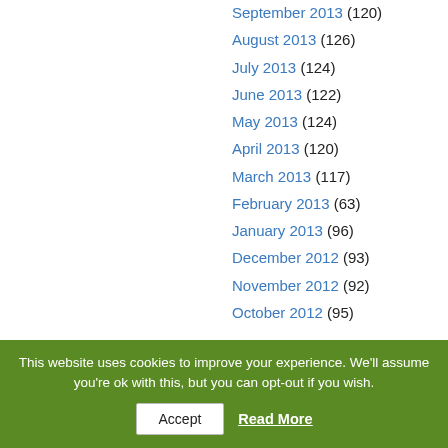September 2013 (120)
August 2013 (126)
July 2013 (124)
June 2013 (122)
May 2013 (124)
April 2013 (120)
March 2013 (117)
February 2013 (63)
January 2013 (96)
December 2012 (93)
November 2012 (92)
October 2012 (95)
This website uses cookies to improve your experience. We'll assume you're ok with this, but you can opt-out if you wish. Accept Read More